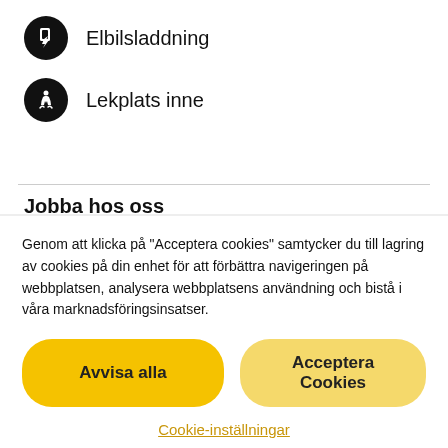Elbilsladdning
Lekplats inne
Jobba hos oss
Genom att klicka på "Acceptera cookies" samtycker du till lagring av cookies på din enhet för att förbättra navigeringen på webbplatsen, analysera webbplatsens användning och bistå i våra marknadsföringsinsatser.
Avvisa alla
Acceptera Cookies
Cookie-inställningar